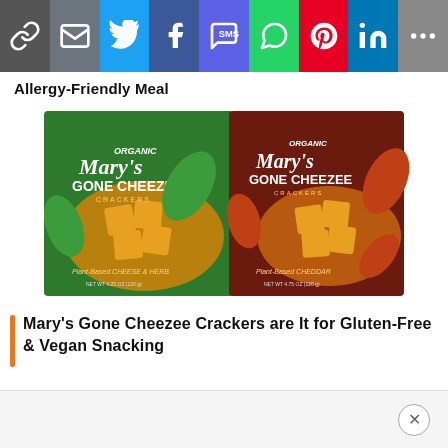[Figure (other): Social media sharing bar with icons: link, email, Twitter, Facebook, SMS, WhatsApp, Pinterest, LinkedIn, More]
Allergy-Friendly Meal
[Figure (photo): Two boxes of Mary's Gone Cheezee Crackers — one green (Plant-Based Cheese & Herb) and one dark red/brown (Plant-Based Cheddar), showing crackers spilling out of each box]
Mary's Gone Cheezee Crackers are It for Gluten-Free & Vegan Snacking
[Figure (other): Advertisement close button (X circle) in bottom gray bar]